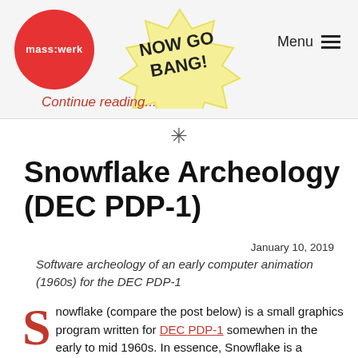mass:werk | NOW GO BANG! | Menu
Continue reading...
✳
Snowflake Archeology (DEC PDP-1)
January 10, 2019
Software archeology of an early computer animation (1960s) for the DEC PDP-1
Snowflake (compare the post below) is a small graphics program written for DEC PDP-1 somewhen in the early to mid 1960s. In essence, Snowflake is a kaleidoscopic program, mapping a list of moving points multiple times onto the screen in a starlike manner. It may be the first of these